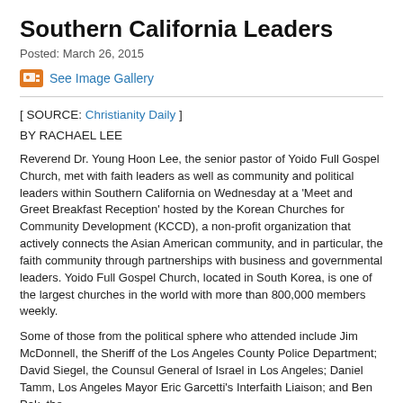Southern California Leaders
Posted: March 26, 2015
See Image Gallery
[ SOURCE: Christianity Daily ]
BY RACHAEL LEE
Reverend Dr. Young Hoon Lee, the senior pastor of Yoido Full Gospel Church, met with faith leaders as well as community and political leaders within Southern California on Wednesday at a 'Meet and Greet Breakfast Reception' hosted by the Korean Churches for Community Development (KCCD), a non-profit organization that actively connects the Asian American community, and in particular, the faith community through partnerships with business and governmental leaders. Yoido Full Gospel Church, located in South Korea, is one of the largest churches in the world with more than 800,000 members weekly.
Some of those from the political sphere who attended include Jim McDonnell, the Sheriff of the Los Angeles County Police Department; David Siegel, the Counsul General of Israel in Los Angeles; Daniel Tamm, Los Angeles Mayor Eric Garcetti's Interfaith Liaison; and Ben Pak, the